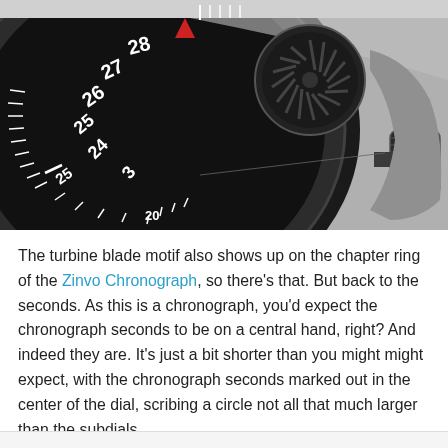[Figure (photo): Close-up photograph of a Zinvo Chronograph watch dial showing black bezel with turbine blade motif on chapter ring, white numerals (20, 25, 28, 27, 26, 25, 24, 3), a red triangle indicator, a subdial with turbine blade design, tick marks, and a crown/winding knob on the right side.]
The turbine blade motif also shows up on the chapter ring of the Zinvo Chronograph, so there's that.  But back to the seconds.  As this is a chronograph, you'd expect the chronograph seconds to be on a central hand, right?  And indeed they are.  It's just a bit shorter than you might might expect, with the chronograph seconds marked out in the center of the dial, scribing a circle not all that much larger than the subdials.